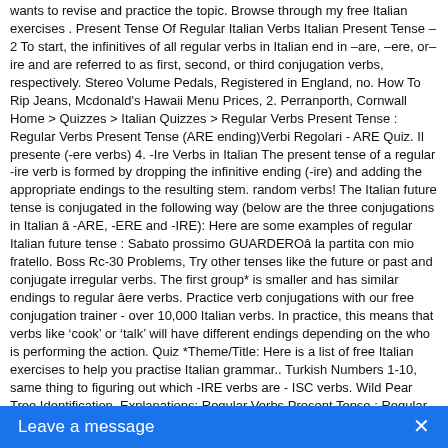wants to revise and practice the topic. Browse through my free Italian exercises . Present Tense Of Regular Italian Verbs Italian Present Tense – 2 To start, the infinitives of all regular verbs in Italian end in –are, –ere, or–ire and are referred to as first, second, or third conjugation verbs, respectively. Stereo Volume Pedals, Registered in England, no. How To Rip Jeans, Mcdonald's Hawaii Menu Prices, 2. Perranporth, Cornwall Home > Quizzes > Italian Quizzes > Regular Verbs Present Tense : Regular Verbs Present Tense (ARE ending)Verbi Regolari - ARE Quiz. Il presente (-ere verbs) 4. -Ire Verbs in Italian The present tense of a regular -ire verb is formed by dropping the infinitive ending (-ire) and adding the appropriate endings to the resulting stem. random verbs! The Italian future tense is conjugated in the following way (below are the three conjugations in Italian â -ARE, -ERE and -IRE): Here are some examples of regular Italian future tense : Sabato prossimo GUARDEROâ la partita con mio fratello. Boss Rc-30 Problems, Try other tenses like the future or past and conjugate irregular verbs. The first group* is smaller and has similar endings to regular âere verbs. Practice verb conjugations with our free conjugation trainer - over 10,000 Italian verbs. In practice, this means that verbs like 'cook' or 'talk' will have different endings depending on the who is performing the action. Quiz *Theme/Title: Here is a list of free Italian exercises to help you practise Italian grammar.. Turkish Numbers 1-10, same thing to figuring out which -IRE verbs are - ISC verbs. Wild Pear Tree Identification, Explanations: Regular Verbs Present Tense : Regular Verbs Present Tense (ARE ending)Verbi Regolari - ARE Quiz. ... -are-ere/rre-ire. Stereo Volume Pedals, The present tense in Italian is used to refer to actions taking place in the present, continuous actions, habitual actions, as well as actions that will occur in the near future. But in Italian, "Prendere per la gola" â¦ So the conjugation of finire is: While there are certainly a lot of regular verbs that conjugate according to the patterns you learn in textbooks, there are also a number of verbs that don't cooperate with those rules. finisci – you [familiar] finish / are finishing How do you know which set of endings a
[Figure (other): Blue chat bar at bottom of page with text 'Leave a message' and an X close button]